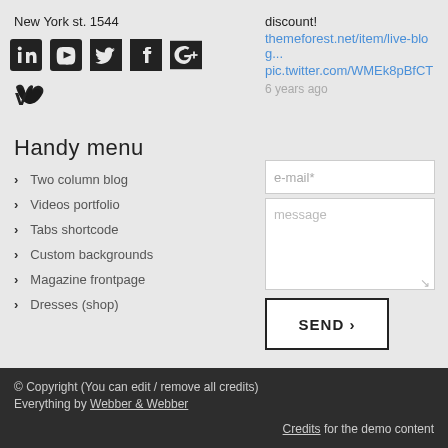New York st. 1544
discount!
themeforest.net/item/live-blog...
pic.twitter.com/WMEk8pBfCT
6 years ago
[Figure (other): Social media icons: LinkedIn, YouTube, Twitter, Facebook, Google+, Vimeo]
Handy menu
Two column blog
Videos portfolio
Tabs shortcode
Custom backgrounds
Magazine frontpage
Dresses (shop)
[Figure (other): Contact form with e-mail input, message textarea, and SEND button]
© Copyright (You can edit / remove all credits)
Everything by Webber & Webber
Credits for the demo content